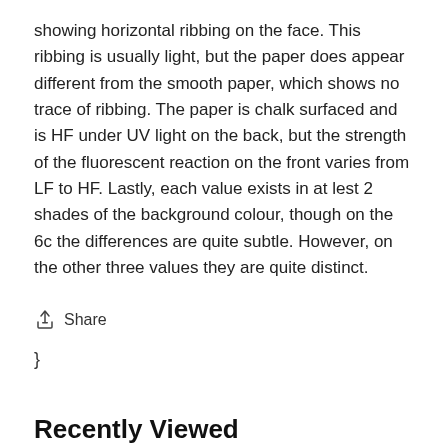showing horizontal ribbing on the face. This ribbing is usually light, but the paper does appear different from the smooth paper, which shows no trace of ribbing. The paper is chalk surfaced and is HF under UV light on the back, but the strength of the fluorescent reaction on the front varies from LF to HF. Lastly, each value exists in at lest 2 shades of the background colour, though on the 6c the differences are quite subtle. However, on the other three values they are quite distinct.
Share
}
Recently Viewed